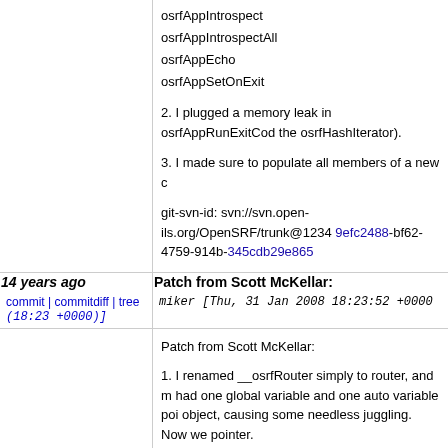osrfAppIntrospect
osrfAppIntrospectAll
osrfAppEcho
osrfAppSetOnExit

2. I plugged a memory leak in osrfAppRunExitCode the osrfHashIterator).

3. I made sure to populate all members of a new c

git-svn-id: svn://svn.open-ils.org/OpenSRF/trunk@1234 9efc2488-bf62-4759-914b-345cdb29e865
| 14 years ago | Patch from Scott McKellar: |
| --- | --- |
| commit | commitdiff | tree (18:23 +0000)] | miker [Thu, 31 Jan 2008 18:23:52 +0000 |
|  | Patch from Scott McKellar:

1. I renamed __osrfRouter simply to router, and m had one global variable and one auto variable poi object, causing some needless juggling. Now we pointer.

2. I removed the leading underscores from __setu

3. I renamed the parameter to routerSignalHandle |